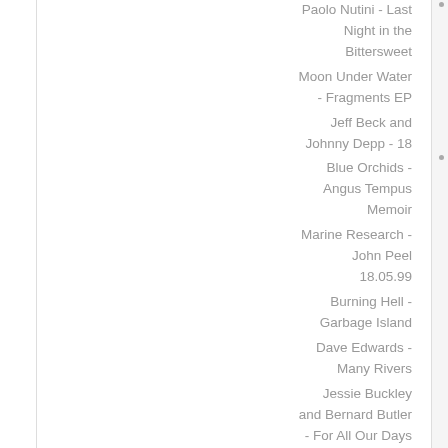Paolo Nutini - Last Night in the Bittersweet
Moon Under Water - Fragments EP
Jeff Beck and Johnny Depp - 18
Blue Orchids - Angus Tempus Memoir
Marine Research - John Peel 18.05.99
Burning Hell - Garbage Island
Dave Edwards - Many Rivers
Jessie Buckley and Bernard Butler - For All Our Days That Tear The Head